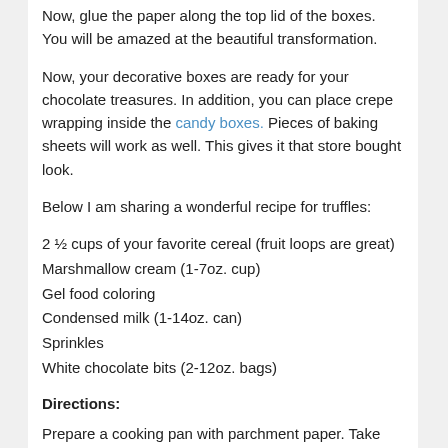Now, glue the paper along the top lid of the boxes. You will be amazed at the beautiful transformation.
Now, your decorative boxes are ready for your chocolate treasures. In addition, you can place crepe wrapping inside the candy boxes. Pieces of baking sheets will work as well. This gives it that store bought look.
Below I am sharing a wonderful recipe for truffles:
2 ½ cups of your favorite cereal (fruit loops are great)
Marshmallow cream (1-7oz. cup)
Gel food coloring
Condensed milk (1-14oz. can)
Sprinkles
White chocolate bits (2-12oz. bags)
Directions:
Prepare a cooking pan with parchment paper. Take one package of chocolate and melt it down in a bowl. This is done over a Dutch cooker, microwave, or over a pot of